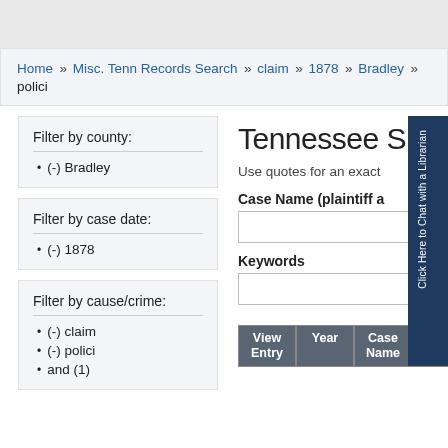Home » Misc. Tenn Records Search » claim » 1878 » Bradley » polici
Filter by county:
(-) Bradley
Filter by case date:
(-) 1878
Filter by cause/crime:
(-) claim
(-) polici
and (1)
Tennessee S
Use quotes for an exact
Case Name (plaintiff a
Keywords
| View Entry | Year | Case Name | Co |
| --- | --- | --- | --- |